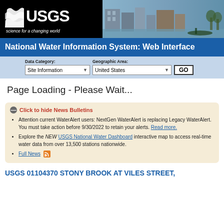[Figure (logo): USGS logo with 'science for a changing world' tagline and flood photo banner]
National Water Information System: Web Interface
Data Category: Site Information | Geographic Area: United States | GO
Page Loading - Please Wait...
Click to hide News Bulletins
Attention current WaterAlert users: NextGen WaterAlert is replacing Legacy WaterAlert. You must take action before 9/30/2022 to retain your alerts. Read more.
Explore the NEW USGS National Water Dashboard interactive map to access real-time water data from over 13,500 stations nationwide.
Full News
USGS 01104370 STONY BROOK AT VILES STREET,